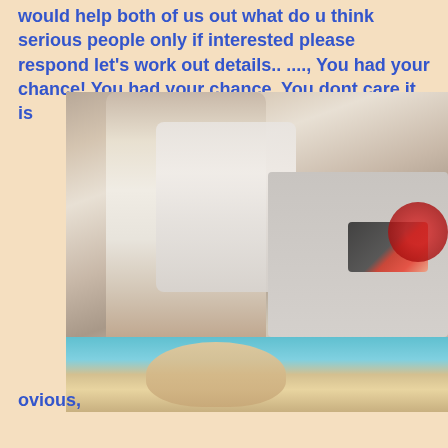would help both of us out what do u think serious people only if interested please respond let's work out details.. ...., You had your chance! You had your chance. You dont care it is
[Figure (photo): Photo of a person sitting, wearing a white lace tank top and denim shorts, with hands on a keyboard. Background shows a floor with scattered items. Below is a partial face photo with a teal/green background.]
ovious,